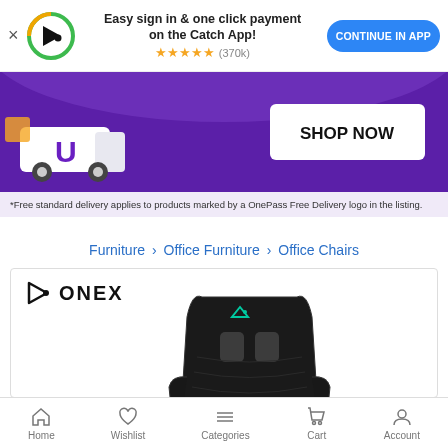Easy sign in & one click payment on the Catch App! ★★★★★ (370k) CONTINUE IN APP
[Figure (screenshot): Purple promotional banner with delivery van and SHOP NOW button]
*Free standard delivery applies to products marked by a OnePass Free Delivery logo in the listing.
Furniture › Office Furniture › Office Chairs
[Figure (photo): ONEX branded gaming/office chair in black, shown from front-top angle with teal ONEX logo on headrest]
Home  Wishlist  Categories  Cart  Account